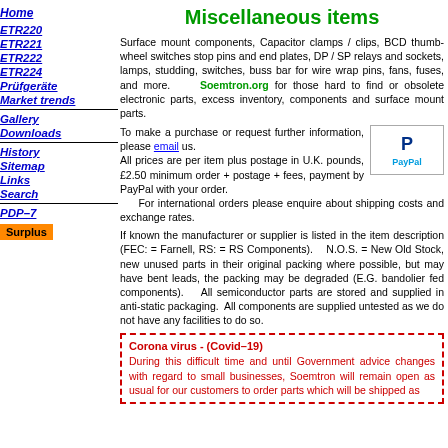Home
Miscellaneous items
ETR220
ETR221
ETR222
ETR224
Prüfgeräte
Market trends
Gallery
Downloads
History
Sitemap
Links
Search
PDP–7
Surplus
Surface mount components, Capacitor clamps / clips, BCD thumbwheel switches stop pins and end plates, DP / SP relays and sockets, lamps, studding, switches, buss bar for wire wrap pins, fans, fuses, and more.    Soemtron.org for those hard to find or obsolete electronic parts, excess inventory, components and surface mount parts.
To make a purchase or request further information, please email us.
All prices are per item plus postage in U.K. pounds, £2.50 minimum order + postage + fees, payment by PayPal with your order.
    For international orders please enquire about shipping costs and exchange rates.
If known the manufacturer or supplier is listed in the item description (FEC: = Farnell, RS: = RS Components).    N.O.S. = New Old Stock, new unused parts in their original packing where possible, but may have bent leads, the packing may be degraded (E.G. bandolier fed components).    All semiconductor parts are stored and supplied in anti-static packaging.  All components are supplied untested as we do not have any facilities to do so.
Corona virus - (Covid–19)
During this difficult time and until Government advice changes with regard to small businesses, Soemtron will remain open as usual for our customers to order parts which will be shipped as